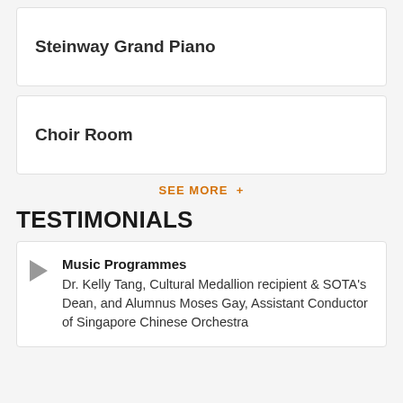Steinway Grand Piano
Choir Room
SEE MORE +
TESTIMONIALS
Music Programmes
Dr. Kelly Tang, Cultural Medallion recipient & SOTA's Dean, and Alumnus Moses Gay, Assistant Conductor of Singapore Chinese Orchestra